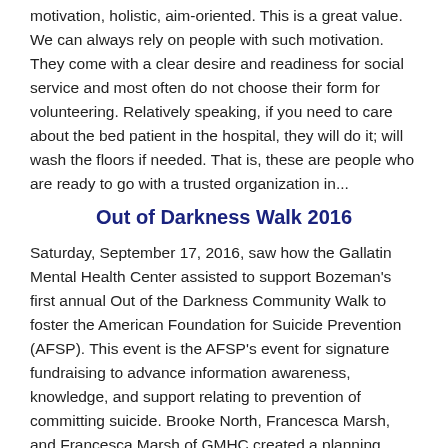motivation, holistic, aim-oriented. This is a great value. We can always rely on people with such motivation. They come with a clear desire and readiness for social service and most often do not choose their form for volunteering. Relatively speaking, if you need to care about the bed patient in the hospital, they will do it; will wash the floors if needed. That is, these are people who are ready to go with a trusted organization in...
Out of Darkness Walk 2016
Saturday, September 17, 2016, saw how the Gallatin Mental Health Center assisted to support Bozeman's first annual Out of the Darkness Community Walk to foster the American Foundation for Suicide Prevention (AFSP). This event is the AFSP's event for signature fundraising to advance information awareness, knowledge, and support relating to prevention of committing suicide. Brooke North, Francesca Marsh, and Francesca Marsh of GMHC created a planning committee. This committee includes partners from the Help Center, Montana State University Counseling and Psychological Services, and Walmart to organize this fascinating event. At the end of the day, over 350 people visited this meeting. Over $35,000 was donated. 50% of visitors come back to the MT AFSP chapter! US